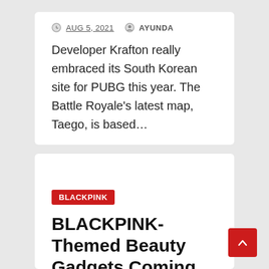AUG 5, 2021  AYUNDA
Developer Krafton really embraced its South Korean site for PUBG this year. The Battle Royale's latest map, Taego, is based…
BLACKPINK
BLACKPINK-Themed Beauty Gadgets Coming to 'PUBG'
AUG 4, 2021  AYUNDA
BLACKPINK, the K-pop sensation from Jisoo, Jenni… Rosé and Lisa, is working with PUBG: